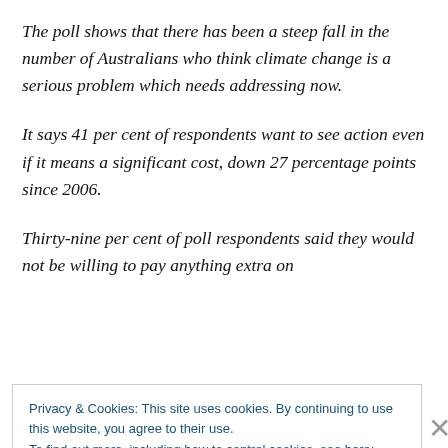The poll shows that there has been a steep fall in the number of Australians who think climate change is a serious problem which needs addressing now.
It says 41 per cent of respondents want to see action even if it means a significant cost, down 27 percentage points since 2006.
Thirty-nine per cent of poll respondents said they would not be willing to pay anything extra on
Privacy & Cookies: This site uses cookies. By continuing to use this website, you agree to their use.
To find out more, including how to control cookies, see here: Cookie Policy